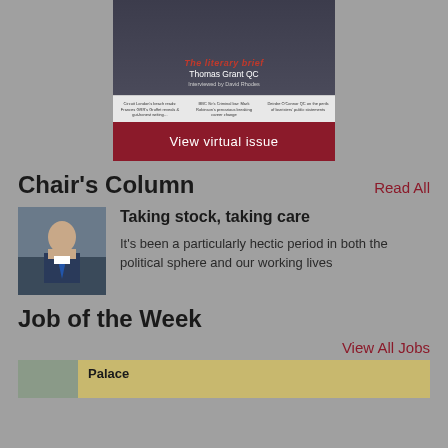[Figure (photo): Magazine cover showing a man in a suit with title 'The literary brief' by Thomas Grant QC, with lower panel showing three caption snippets]
View virtual issue
Chair's Column
Read All
[Figure (photo): Headshot of a middle-aged man in a suit used for Chair's Column article]
Taking stock, taking care
It's been a particularly hectic period in both the political sphere and our working lives
Job of the Week
View All Jobs
Palace